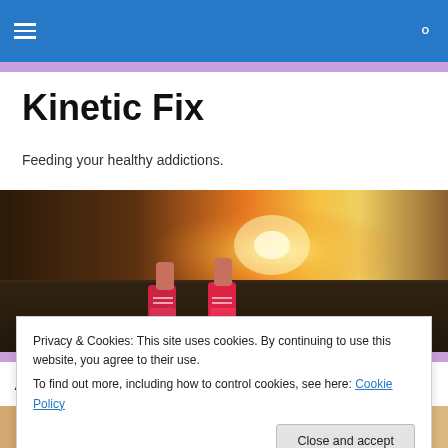Navigation bar with hamburger menu and search icon
Kinetic Fix
Feeding your healthy addictions.
[Figure (photo): Close-up of running shoes on a road at sunset with warm orange light in background]
Are you guilty of one of these
Privacy & Cookies: This site uses cookies. By continuing to use this website, you agree to their use.
To find out more, including how to control cookies, see here: Cookie Policy
[Figure (photo): Group of people at the bottom of the page, partially visible]